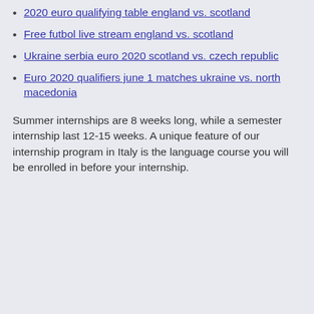2020 euro qualifying table england vs. scotland
Free futbol live stream england vs. scotland
Ukraine serbia euro 2020 scotland vs. czech republic
Euro 2020 qualifiers june 1 matches ukraine vs. north macedonia
Summer internships are 8 weeks long, while a semester internship last 12-15 weeks. A unique feature of our internship program in Italy is the language course you will be enrolled in before your internship.